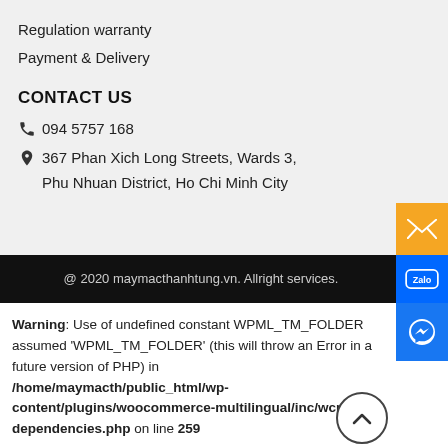Regulation warranty
Payment & Delivery
CONTACT US
📞 094 5757 168
📍 367 Phan Xich Long Streets, Wards 3, Phu Nhuan District, Ho Chi Minh City
@ 2020 maymacthanhtung.vn. Allright services.
Warning: Use of undefined constant WPML_TM_FOLDER assumed 'WPML_TM_FOLDER' (this will throw an Error in a future version of PHP) in /home/maymacth/public_html/wp-content/plugins/woocommerce-multilingual/inc/wcml-dependencies.php on line 259